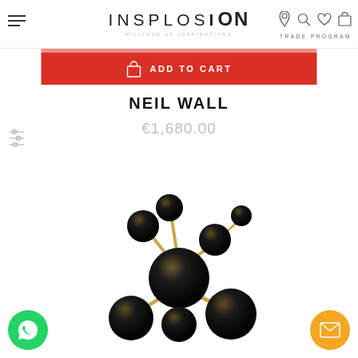INSPLOSION - MILLIONS OF INSPIRATIONS | TRADE PROGRAM
NEIL WALL
€1,680.00
[Figure (photo): Black and gold molecular/atomic style wall sculpture with multiple spheres connected by gold rods, resembling a molecule structure. The spheres are glossy black with gold reflections.]
[Figure (other): ADD TO CART button in red with shopping bag icon]
[Figure (other): WhatsApp contact button (green circle with WhatsApp logo)]
[Figure (other): Email contact button (orange circle with envelope icon)]